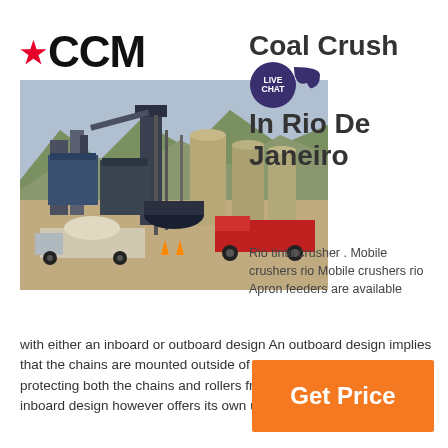[Figure (logo): CCM logo with red star on left side]
[Figure (photo): Industrial coal crushing plant with silos, machinery, and trucks in a mountainous area]
Coal Crusher In Rio De Janeiro
Rio tinto crusher . Mobile crushers rio Mobile crushers rio Apron feeders are available with either an inboard or outboard design An outboard design implies that the chains are mounted outside of the skirt board area hereby protecting both the chains and rollers from spillage material An inboard design however offers its own unique advantages
[Figure (infographic): Orange Get Price button]